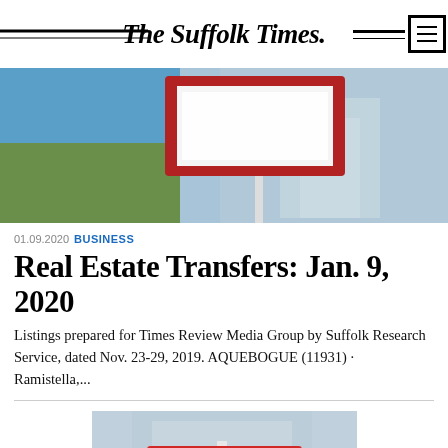The Suffolk Times.
[Figure (photo): Blurred outdoor photo showing a red-bordered real estate for-sale sign with a white blank face, on a post, with greenery and blue sky in background.]
01.09.2020 BUSINESS
Real Estate Transfers: Jan. 9, 2020
Listings prepared for Times Review Media Group by Suffolk Research Service, dated Nov. 23-29, 2019. AQUEBOGUE (11931) · Ramistella,...
[Figure (photo): Close-up photo of a red and white real estate for-sale sign on a post with a blurred building in the background.]